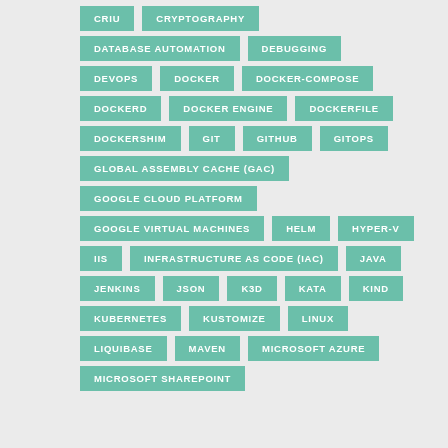CRIU
CRYPTOGRAPHY
DATABASE AUTOMATION
DEBUGGING
DEVOPS
DOCKER
DOCKER-COMPOSE
DOCKERD
DOCKER ENGINE
DOCKERFILE
DOCKERSHIM
GIT
GITHUB
GITOPS
GLOBAL ASSEMBLY CACHE (GAC)
GOOGLE CLOUD PLATFORM
GOOGLE VIRTUAL MACHINES
HELM
HYPER-V
IIS
INFRASTRUCTURE AS CODE (IAC)
JAVA
JENKINS
JSON
K3D
KATA
KIND
KUBERNETES
KUSTOMIZE
LINUX
LIQUIBASE
MAVEN
MICROSOFT AZURE
MICROSOFT SHAREPOINT